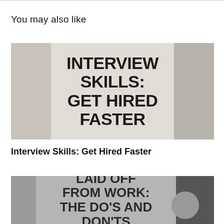You may also like
[Figure (photo): Thumbnail image with bold text overlay reading 'INTERVIEW SKILLS: GET HIRED FASTER' on a light wooden background with a tie.]
Interview Skills: Get Hired Faster
[Figure (photo): Thumbnail image with bold text overlay reading 'LAID OFF FROM WORK: THE DO'S AND DON'TS' on a background showing a suited man.]